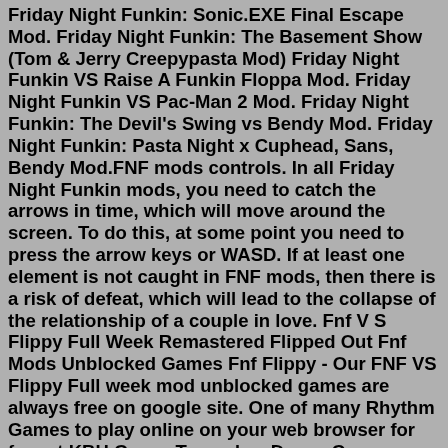Friday Night Funkin: Sonic.EXE Final Escape Mod. Friday Night Funkin: The Basement Show (Tom & Jerry Creepypasta Mod) Friday Night Funkin VS Raise A Funkin Floppa Mod. Friday Night Funkin VS Pac-Man 2 Mod. Friday Night Funkin: The Devil's Swing vs Bendy Mod. Friday Night Funkin: Pasta Night x Cuphead, Sans, Bendy Mod.FNF mods controls. In all Friday Night Funkin mods, you need to catch the arrows in time, which will move around the screen. To do this, at some point you need to press the arrow keys or WASD. If at least one element is not caught in FNF mods, then there is a risk of defeat, which will lead to the collapse of the relationship of a couple in love. Fnf V S Flippy Full Week Remastered Flipped Out Fnf Mods Unblocked Games Fnf Flippy - Our FNF VS Flippy Full week mod unblocked games are always free on google site. One of many Rhythm Games to play online on your web browser for free at KBH GamesTagged as Dance Games Friday Night Funkin Games Happy Tree Friends Games Music Games Reaction Time_ Friday Night Funkin VS